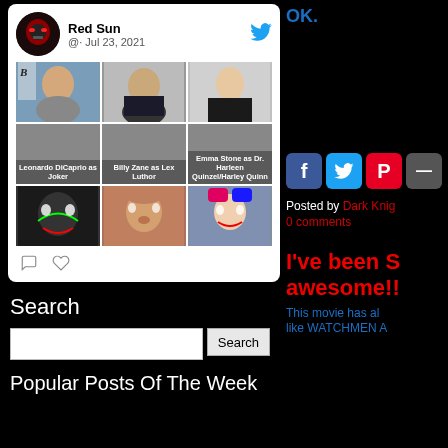[Figure (screenshot): Social media post card from 'Red Sun' dated Jul 23, 2021 with Twitter icon. Contains a 3x3 image grid showing: Leonardo DiCaprio as Joker, Billy Zane as Lex Luthor, Emma Stone as Dr. Harleen Quinzel/Harley Quinn (top labeled photos and bottom unlabeled photos). Card has comment and like icons at bottom.]
Search
Search (input field and button)
Popular Posts Of The Week
OK.
[Figure (screenshot): Social media share buttons: Facebook (blue), Twitter (light blue), Pinterest (red), and a partial fourth button]
Posted by Dark Kni
0 comments
I've been S awesome!!
This movie has al like WATCHMEN A